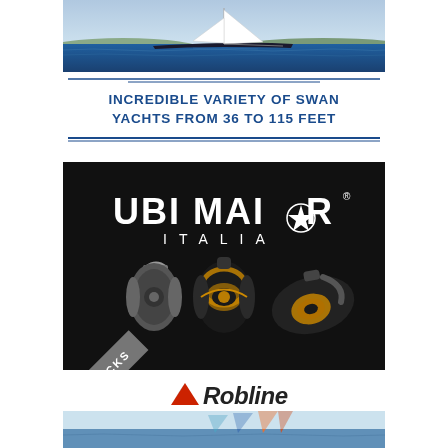[Figure (photo): Sailing yacht (Swan) on water with dark hull, white sails, photographed from the side.]
INCREDIBLE VARIETY OF SWAN YACHTS FROM 36 TO 115 FEET
[Figure (photo): Ubi Maior Italia advertisement on black background featuring three sailing hardware blocks/pulleys and 'BLOCKS' label in lower left corner.]
[Figure (logo): Robline logo with red/grey triangle and stylized italic 'Robline' text, above a photo of colorful sailboat sails on water.]